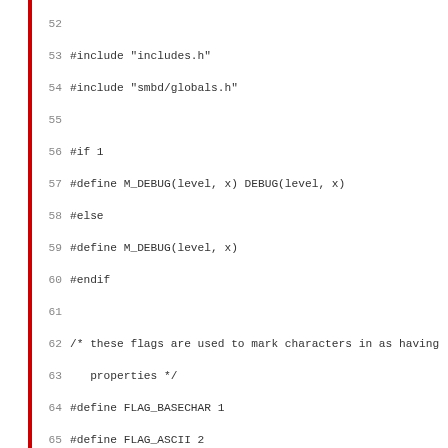Source code listing lines 52-83 showing C preprocessor directives and flag definitions for SMB daemon mangle cache implementation.